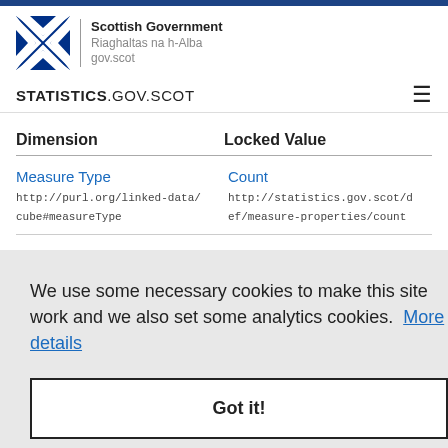Scottish Government Riaghaltas na h-Alba gov.scot
STATISTICS.GOV.SCOT
| Dimension | Locked Value |
| --- | --- |
| Measure Type
http://purl.org/linked-data/cube#measureType | Count
http://statistics.gov.scot/def/measure-properties/count |
We use some necessary cookies to make this site work and we also set some analytics cookies. More details
Got it!